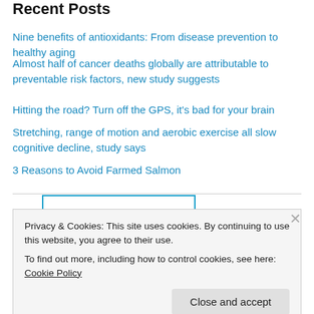Recent Posts
Nine benefits of antioxidants: From disease prevention to healthy aging
Almost half of cancer deaths globally are attributable to preventable risk factors, new study suggests
Hitting the road? Turn off the GPS, it's bad for your brain
Stretching, range of motion and aerobic exercise all slow cognitive decline, study says
3 Reasons to Avoid Farmed Salmon
[Figure (infographic): Promotional banner with text 'Don't just survive - THRIVE' in blue border box]
Privacy & Cookies: This site uses cookies. By continuing to use this website, you agree to their use.
To find out more, including how to control cookies, see here: Cookie Policy
Close and accept